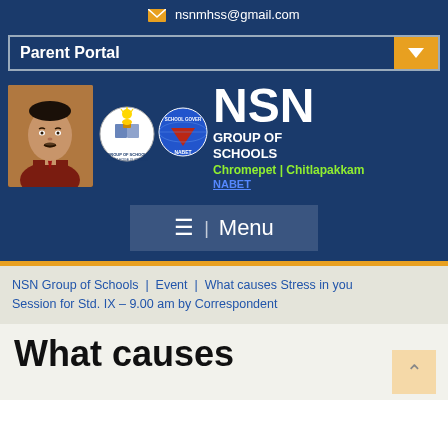nsnmhss@gmail.com
Parent Portal
[Figure (screenshot): NSN Group of Schools banner with founder photo, school seal, globe logo, NSN text and tagline 'Chromepet | Chitlapakkam', NABET accreditation logo]
≡  |  Menu
NSN Group of Schools  |  Event  |  What causes Stress in you Session for Std. IX – 9.00 am by Correspondent
What causes